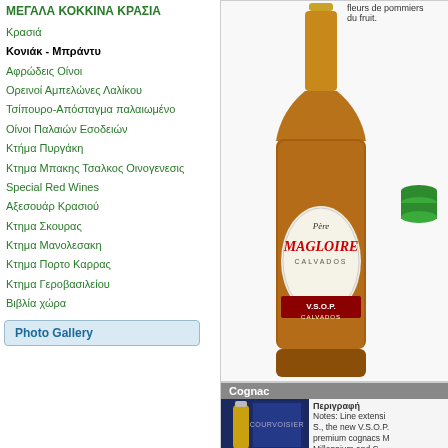ΜΕΓΑΛΑ ΚΟΚΚΙΝΑ ΚΡΑΣΙΑ
Κρασιά
Κονιάκ - Μπράντυ
Αφρώδεις Οίνοι
Ορεινοί Αμπελώνες Λαλίκου
Τσίπουρο-Απόσταγμα παλαιωμένο
Οίνοι Παλαιών Εσοδειών
Κτήμα Πυργάκη
Κτημα Μπακης Τσαλκος Οινογενεσις
Special Red Wines
Αξεσουάρ Κρασιού
Κτημα Σκουρας
Κτημα Μανολεσακη
Κτημα Πορτο Καρρας
Κτημα Γεροβασιλείου
Βιβλία χώρα
Photo Gallery
[Figure (photo): Bottle of Pere Magloire V.S.O.P. Calvados Pays d'Auge with a green bottle cap icon to the right]
fleurs de pommiers du fruit.
Cognac
Περιγραφή
Notes: Line extensi... S., the new V.S.O.P... premium cognacs M... Millennium and C...
[Figure (photo): Courvoisier cognac bottle and box]